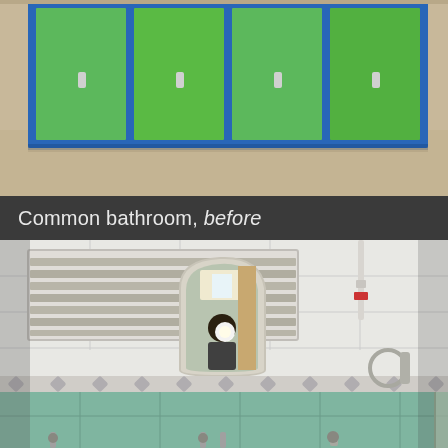[Figure (photo): Top portion of a photo showing colorful green and blue lockers or storage cabinets on a light wooden floor.]
Common bathroom, before
[Figure (photo): Interior bathroom photo showing white and teal green tiles, an arched mirror reflecting a person taking the photo with a camera flash, louvered ventilation windows on the left, a towel ring on the right, and shower fixtures at the bottom.]